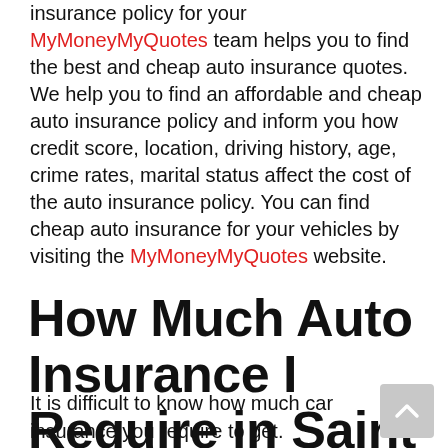insurance policy for your MyMoneyMyQuotes team helps you to find the best and cheap auto insurance quotes. We help you to find an affordable and cheap auto insurance policy and inform you how credit score, location, driving history, age, crime rates, marital status affect the cost of the auto insurance policy. You can find cheap auto insurance for your vehicles by visiting the MyMoneyMyQuotes website.
How Much Auto Insurance I Require in Saint George?
It is difficult to know how much car insurance you require to get. Every state has different minimum auto insurance